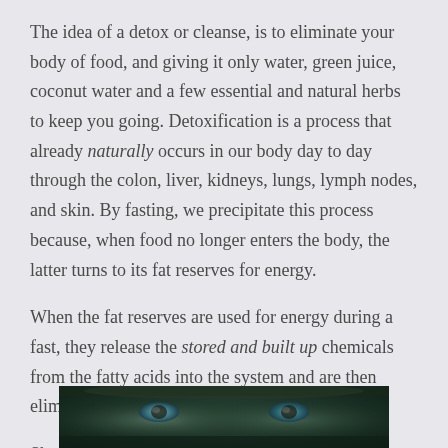The idea of a detox or cleanse, is to eliminate your body of food, and giving it only water, green juice, coconut water and a few essential and natural herbs to keep you going. Detoxification is a process that already naturally occurs in our body day to day through the colon, liver, kidneys, lungs, lymph nodes, and skin. By fasting, we precipitate this process because, when food no longer enters the body, the latter turns to its fat reserves for energy.

When the fat reserves are used for energy during a fast, they release the stored and built up chemicals from the fatty acids into the system and are then eliminated through the organs.

Sha-bang-a-bang.
[Figure (photo): Partial view of a person's face, close-up, with dark and teal/green tones]